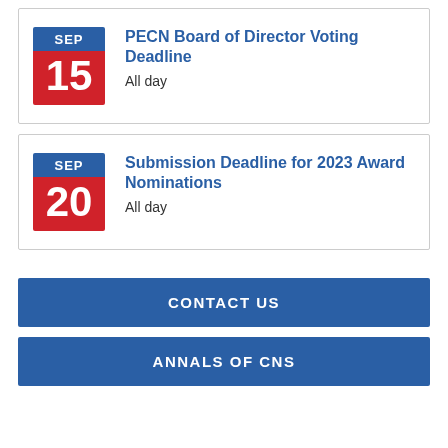SEP 15 — PECN Board of Director Voting Deadline. All day.
SEP 20 — Submission Deadline for 2023 Award Nominations. All day.
CONTACT US
ANNALS OF CNS